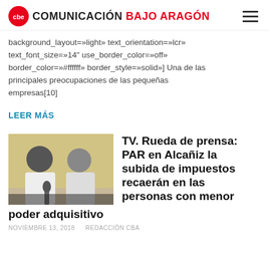COMUNICACIÓN BAJO ARAGÓN
background_layout=»light» text_orientation=»lcr» text_font_size=»14" use_border_color=»off» border_color=»#ffffff» border_style=»solid»] Una de las principales preocupaciones de las pequeñas empresas[10]
LEER MÁS
[Figure (photo): Two people seated at a table, press conference setting, yellow wall in background, man in white shirt on left, woman on right]
TV. Rueda de prensa: PAR en Alcañiz la subida de impuestos recaerán en las personas con menor poder adquisitivo
NOVIEMBRE 13, 2018   REDACCIÓN CBA